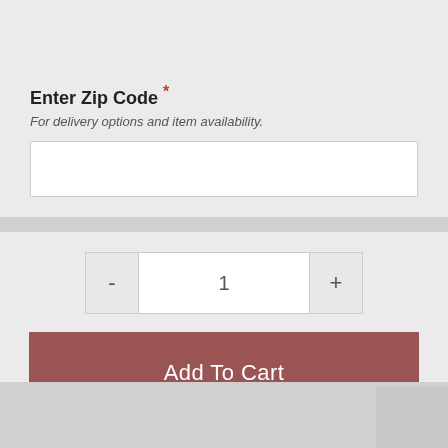Enter Zip Code *
For delivery options and item availability.
1
Add To Cart
Share This Item
[Figure (infographic): Social share icons: email (gray), Twitter (blue), Facebook (dark blue), Pinterest (red), More (orange)]